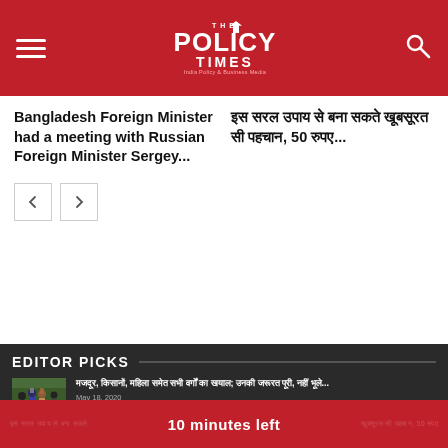THE POLICY TIMES — India Policy & Business Media
Bangladesh Foreign Minister had a meeting with Russian Foreign Minister Sergey...
इस सरल उपाय से बना सकते खूबसूरत सी पहचान, 50 रुपए...
EDITOR PICKS
[Figure (photo): Group of people (migrants/travelers) standing outdoors carrying items on their heads]
मजदूर, किसानों, महिला समेत सभी वर्गों का खयाल; उनकी जरूरत पूरी, नहीं भूले...
May 18, 2020
10 minutes left